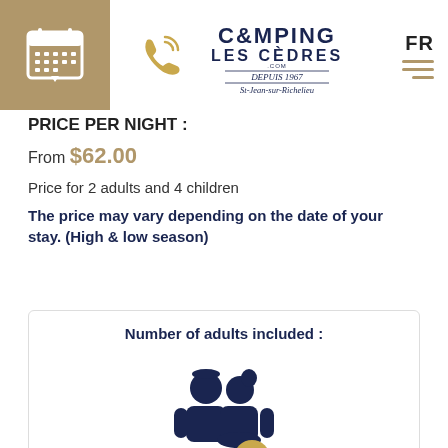[Figure (logo): Camping Les Cèdres .com header logo with calendar icon, phone icon, and FR language toggle with hamburger menu]
PRICE PER NIGHT :
From $62.00
Price for 2 adults and 4 children
The price may vary depending on the date of your stay. (High & low season)
Number of adults included :
[Figure (illustration): Two adult figures icons in dark navy blue with a gold circle badge showing the number 2]